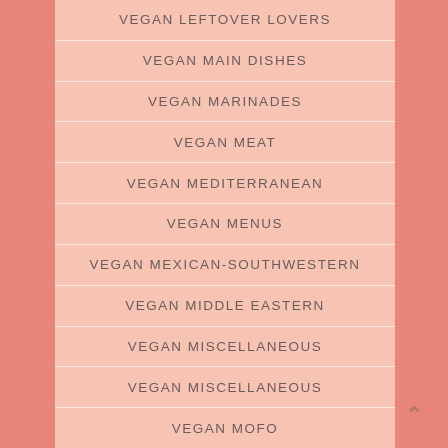VEGAN LEFTOVER LOVERS
VEGAN MAIN DISHES
VEGAN MARINADES
VEGAN MEAT
VEGAN MEDITERRANEAN
VEGAN MENUS
VEGAN MEXICAN-SOUTHWESTERN
VEGAN MIDDLE EASTERN
VEGAN MISCELLANEOUS
VEGAN MISCELLANEOUS
VEGAN MOFO